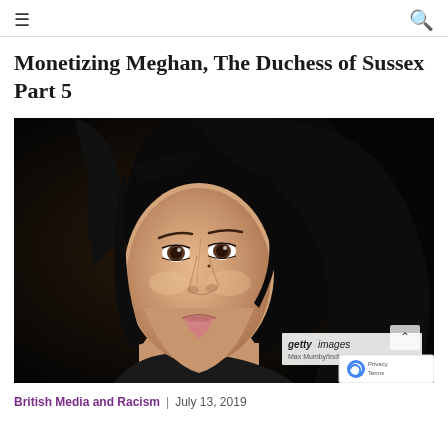☰  🔍
Monetizing Meghan, The Duchess of Sussex Part 5
[Figure (photo): Close-up portrait photograph of Meghan, Duchess of Sussex, with dark hair, looking slightly to the left, against a dark background. Getty Images watermark visible.]
British Media and Racism | July 13, 2019